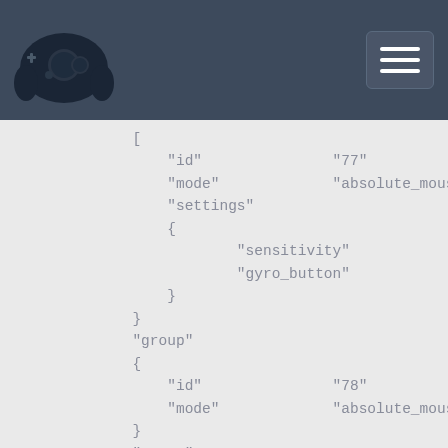Steam Controller configuration page header with logo and menu button
[
                "id"                "77"
                "mode"              "absolute_mouse"
                "settings"
                {
                        "sensitivity"
                        "gyro_button"
                }
            }
            "group"
            {
                "id"                "78"
                "mode"              "absolute_mouse"
            }
            "group"
            {
                "id"                "79"
                "mode"              "mouse_joystick"
                "bindings"
                {